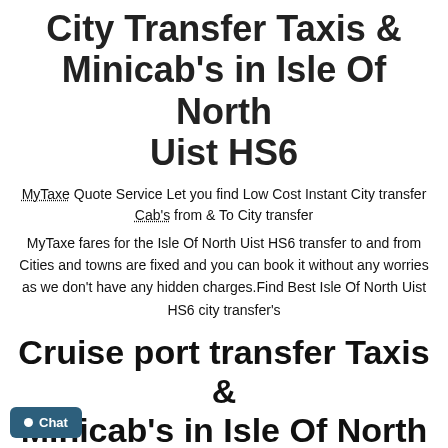City Transfer Taxis & Minicab's in Isle Of North Uist HS6
MyTaxe Quote Service Let you find Low Cost Instant City transfer Cab's from & To City transfer
MyTaxe fares for the Isle Of North Uist HS6 transfer to and from Cities and towns are fixed and you can book it without any worries as we don't have any hidden charges.Find Best Isle Of North Uist HS6 city transfer's
Cruise port transfer Taxis & Minicab's in Isle Of North Uist HS6